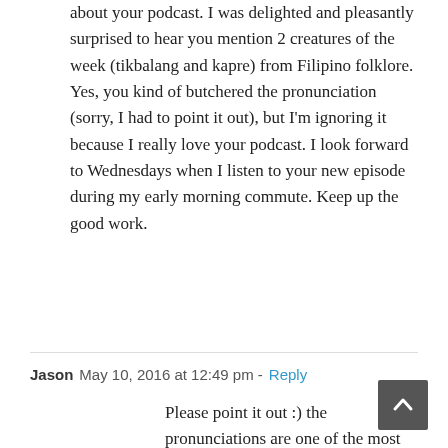about your podcast. I was delighted and pleasantly surprised to hear you mention 2 creatures of the week (tikbalang and kapre) from Filipino folklore. Yes, you kind of butchered the pronunciation (sorry, I had to point it out), but I'm ignoring it because I really love your podcast. I look forward to Wednesdays when I listen to your new episode during my early morning commute. Keep up the good work.
Jason  May 10, 2016 at 12:49 pm - Reply
Please point it out :) the pronunciations are one of the most difficult things about this podcast. Some creatures are so obscure that they don't have much